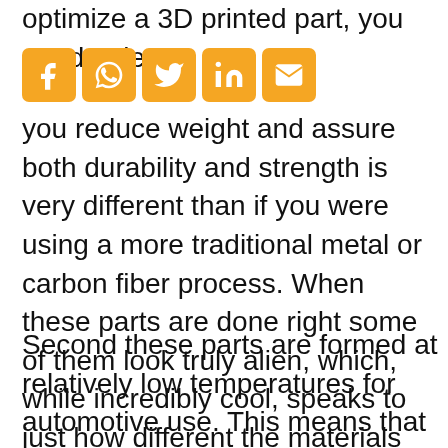optimize a 3D printed part, you need to learn how to design it into your project and the way you reduce weight and assure both durability and strength is very different than if you were using a more traditional metal or carbon fiber process. When these parts are done right some of them look truly alien, which, while incredibly cool, speaks to just how different the materials are in terms of how they gain durability and strength.
[Figure (infographic): Row of five social media share icons: Facebook, WhatsApp, Twitter, LinkedIn, Email — each in an orange rounded square]
Second these parts are formed at relatively low temperatures for automotive use. This means that they can be used for a lot of things including air intakes, water cooling, and trim...